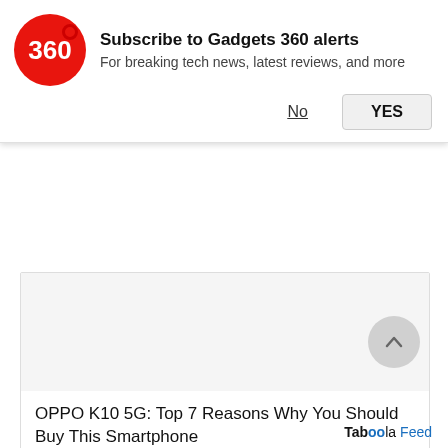[Figure (logo): Gadgets 360 red circular logo with '360' text in white]
Subscribe to Gadgets 360 alerts
For breaking tech news, latest reviews, and more
No   YES
[Figure (photo): Empty image area / article thumbnail placeholder]
OPPO K10 5G: Top 7 Reasons Why You Should Buy This Smartphone
Taboola Feed